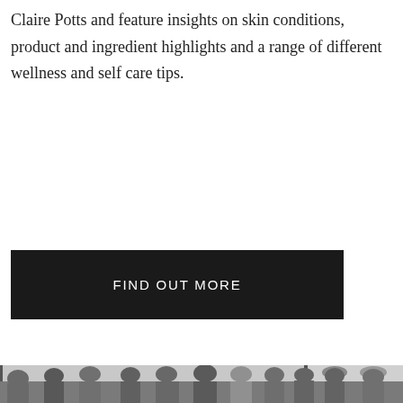Claire Potts and feature insights on skin conditions, product and ingredient highlights and a range of different wellness and self care tips.
FIND OUT MORE
[Figure (photo): Black and white group photo of approximately 11 people standing together outside a building, including two people holding animals (a dog and a baby). People are dressed casually, some wearing sunglasses and hats.]